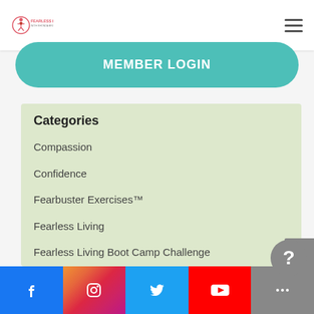[Figure (logo): Fearless Living with Rhonda Britten logo - circular icon with figure and heart, red and pink colors]
Your Voice Matters!
The Real Reason Why I Was Born
MEMBER LOGIN
Categories
Compassion
Confidence
Fearbuster Exercises™
Fearless Living
Fearless Living Boot Camp Challenge
Fearless Living™
Fearless Relationship with Others